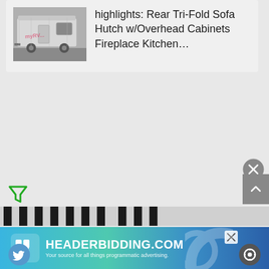[Figure (photo): Photo of an RV/travel trailer covered with a grey cover, parked in a lot. There is a pink/red watermark text overlay on the image.]
highlights: Rear Tri-Fold Sofa Hutch w/Overhead Cabinets Fireplace Kitchen...
[Figure (screenshot): Headerbidding.com advertisement banner showing the logo with text: HEADERBIDDING.COM — Your source for all things programmatic advertising.]